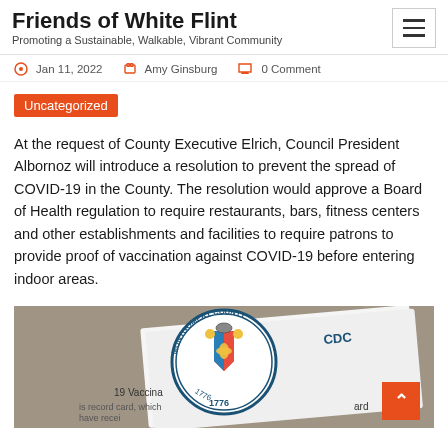Friends of White Flint
Promoting a Sustainable, Walkable, Vibrant Community
Jan 11, 2022   Amy Ginsburg   0 Comment
Uncategorized
At the request of County Executive Elrich, Council President Albornoz will introduce a resolution to prevent the spread of COVID-19 in the County. The resolution would approve a Board of Health regulation to require restaurants, bars, fitness centers and other establishments and facilities to require patrons to provide proof of vaccination against COVID-19 before entering indoor areas.
[Figure (photo): Photo showing Montgomery County seal overlaid on a CDC COVID-19 vaccination record card, with text '19 Vaccina...' and '19 Vaccina... is record card, which... have recei...' and 'ard' visible at bottom, stone/gravel background]